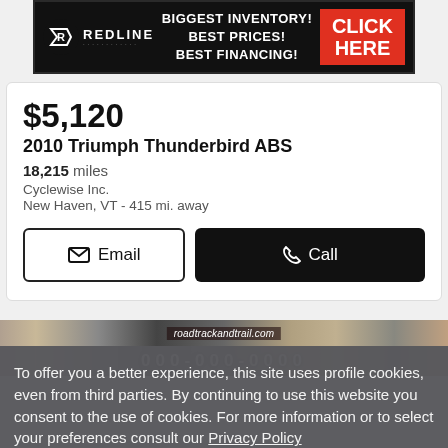[Figure (screenshot): Redline dealer banner ad: black background with Redline logo on left, 'BIGGEST INVENTORY! BEST PRICES! BEST FINANCING!' text in center, red 'CLICK HERE' box on right]
$5,120
2010 Triumph Thunderbird ABS
18,215 miles
Cyclewise Inc.
New Haven, VT - 415 mi. away
[Figure (screenshot): Partial photo strip showing roadtrackandtrail.com dealer advertisement with phone number partially visible]
To offer you a better experience, this site uses profile cookies, even from third parties. By continuing to use this website you consent to the use of cookies. For more information or to select your preferences consult our Privacy Policy
Cookie Settings  ✓ OK  ✕